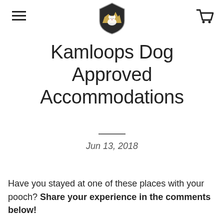[Logo: shield with dog/mountain illustration] [hamburger menu] [cart icon]
Kamloops Dog Approved Accommodations
Jun 13, 2018
Have you stayed at one of these places with your pooch? Share your experience in the comments below!